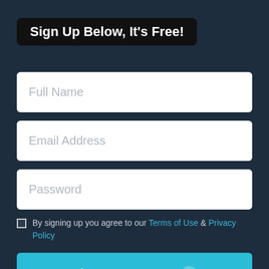Sign Up Below, It's Free!
Full Name
Email Address
Password
By signing up you agree to our Terms of Use & Privacy Policy
Sign Up For Free ❯